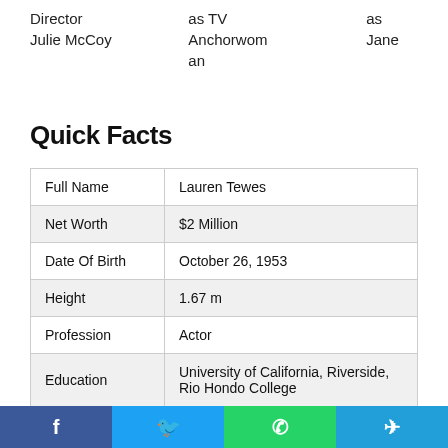Director
Julie McCoy
as TV
Anchorwoman
as Jane
Quick Facts
|  |  |
| --- | --- |
| Full Name | Lauren Tewes |
| Net Worth | $2 Million |
| Date Of Birth | October 26, 1953 |
| Height | 1.67 m |
| Profession | Actor |
| Education | University of California, Riverside, Rio Hondo College |
Facebook Twitter WhatsApp Telegram